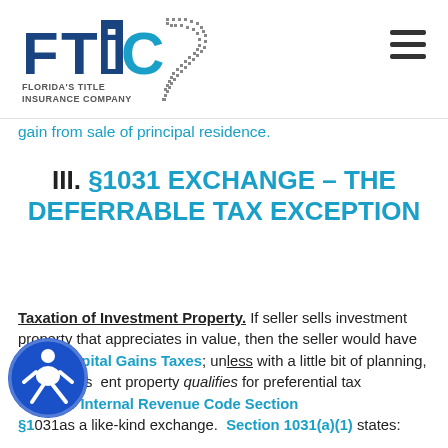FTIC – Florida's Title Insurance Company
gain from sale of principal residence.
III. §1031 EXCHANGE – THE DEFERRABLE TAX EXCEPTION
Taxation of Investment Property. If seller sells investment property that appreciates in value, then the seller would have to pay Capital Gains Taxes; unless with a little bit of planning, that seller's investment property qualifies for preferential tax treatment under Internal Revenue Code Section §1031 as a like-kind exchange. Section 1031(a)(1) states: